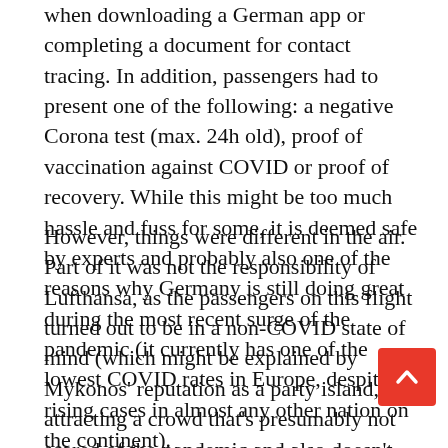when downloading a German app or completing a document for contact tracing. In addition, passengers had to present one of the following: a negative Corona test (max. 24h old), proof of vaccination against COVID or proof of recovery. While this might be too much hassle and fuss for some, it is deemed safe by experts and probably also one of the reasons why Germany is still doing great during the most recent surge of the pandemic (it currently has one of the lowest COVID rates in Europe, despite rising cases in almost any other nation on the continent).
However, things were different in the air. Part of it was not the responsibility of Lufthansa, as the passengers on this flight turned out to be in a non-COVID state of mind (which might be explained by Mykonos' reputation as a party island, attracting a crowd that's presumably not scared of the pandemic and also doesn't follow the rules to mitigate the spread of infection). For example, my seat mate unmasked right after takeoff and took a nap, face away from the aisle as to partly hide his mask-less face from the cabin crew. Even worse, several passengers kept walking up and down the aisle, and chatted